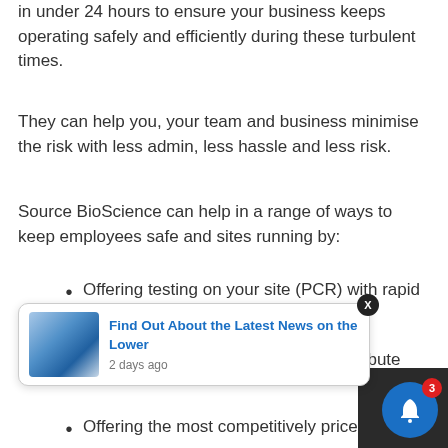in under 24 hours to ensure your business keeps operating safely and efficiently during these turbulent times.
They can help you, your team and business minimise the risk with less admin, less hassle and less risk.
Source BioScience can help in a range of ways to keep employees safe and sites running by:
Offering testing on your site (PCR) with rapid next day results
Providing information for you to distribute … your on-site … es
Offering the most competitively price testing on the market, as they understand